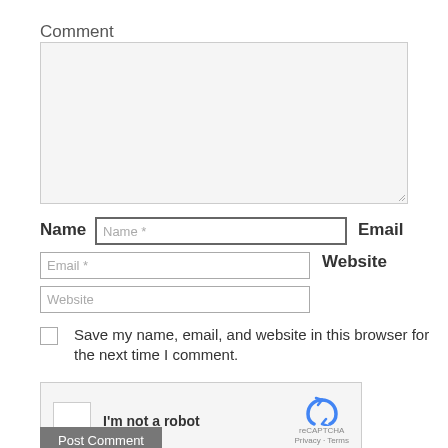Comment
[Figure (screenshot): Comment text area input field, empty, with resize handle]
Name
[Figure (screenshot): Name text input field with placeholder 'Name *']
Email
[Figure (screenshot): Email text input field with placeholder 'Email *']
Website
[Figure (screenshot): Website text input field with placeholder 'Website']
Save my name, email, and website in this browser for the next time I comment.
[Figure (screenshot): reCAPTCHA widget with checkbox labeled 'I'm not a robot', reCAPTCHA logo, Privacy and Terms links]
Post Comment